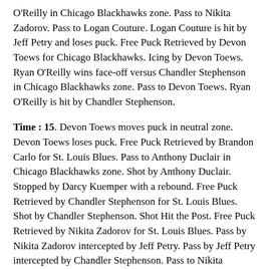O'Reilly in Chicago Blackhawks zone. Pass to Nikita Zadorov. Pass to Logan Couture. Logan Couture is hit by Jeff Petry and loses puck. Free Puck Retrieved by Devon Toews for Chicago Blackhawks. Icing by Devon Toews. Ryan O'Reilly wins face-off versus Chandler Stephenson in Chicago Blackhawks zone. Pass to Devon Toews. Ryan O'Reilly is hit by Chandler Stephenson.
Time : 15. Devon Toews moves puck in neutral zone. Devon Toews loses puck. Free Puck Retrieved by Brandon Carlo for St. Louis Blues. Pass to Anthony Duclair in Chicago Blackhawks zone. Shot by Anthony Duclair. Stopped by Darcy Kuemper with a rebound. Free Puck Retrieved by Chandler Stephenson for St. Louis Blues. Shot by Chandler Stephenson. Shot Hit the Post. Free Puck Retrieved by Nikita Zadorov for St. Louis Blues. Pass by Nikita Zadorov intercepted by Jeff Petry. Pass by Jeff Petry intercepted by Chandler Stephenson. Pass to Nikita Zadorov. Pass to Anthony Duclair. Shot by Anthony Duclair. Shot Blocked by Ryan O'Reilly. Free Puck Retrieved by Brandon Carlo for St. Louis Blues. Pass to Logan Couture. Pass by Logan Couture intercepted by Devon Toews. Pass to Ryan O'Reilly in neutral zone. Pass to Devon Toews in St. Louis Blues zone. Pass to Ryan O'Reilly. Pass by Ryan O'Reilly intercepted by Nikita Zadorov. Pass to Logan Couture in neutral zone. Pass to Chandler Stephenson. Pass to Brandon Carlo. Brandon Carlo moves puck in Chicago Blackhawks zone. Pass to Anthony Duclair. Puck is dumped in